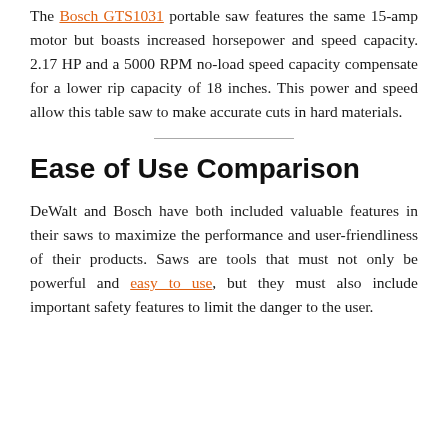The Bosch GTS1031 portable saw features the same 15-amp motor but boasts increased horsepower and speed capacity. 2.17 HP and a 5000 RPM no-load speed capacity compensate for a lower rip capacity of 18 inches. This power and speed allow this table saw to make accurate cuts in hard materials.
Ease of Use Comparison
DeWalt and Bosch have both included valuable features in their saws to maximize the performance and user-friendliness of their products. Saws are tools that must not only be powerful and easy to use, but they must also include important safety features to limit the danger to the user.